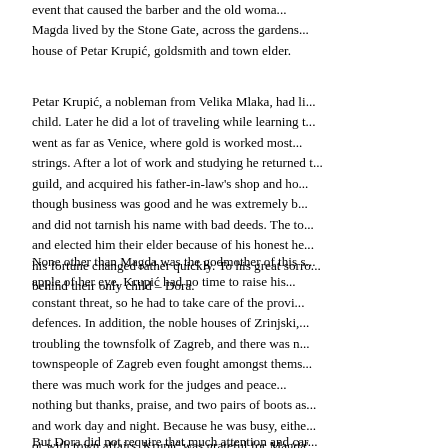event that caused the barber and the old woman... Magda lived by the Stone Gate, across the gardens... house of Petar Krupić, goldsmith and town elder.
Petar Krupić, a nobleman from Velika Mlaka, had li... child. Later he did a lot of traveling while learning t... went as far as Venice, where gold is worked most... strings. After a lot of work and studying he returned t... guild, and acquired his father-in-law's shop and ho... though business was good and he was extremely b... and did not tarnish his name with bad deeds. The to... and elected him their elder because of his honest he... his fortune changed rather quickly. To his great sorro... behind their only child – Dora.
None other than Magda was the godmother of this s... apple of her eye. Krupić had no time to raise his... constant threat, so he had to take care of the provi... defences. In addition, the noble houses of Zrinjski,... troubling the townsfolk of Zagreb, and there was n... townspeople of Zagreb even fought amongst thems... there was much work for the judges and peace... nothing but thanks, praise, and two pairs of boots as... and work day and night. Because he was busy, eithe... or with town affairs, Krupić was grateful for Magda'... soul was pure gold and that she would guide her god... the path of both earthly and eternal happiness.
But Dora did not require that much attention and car...